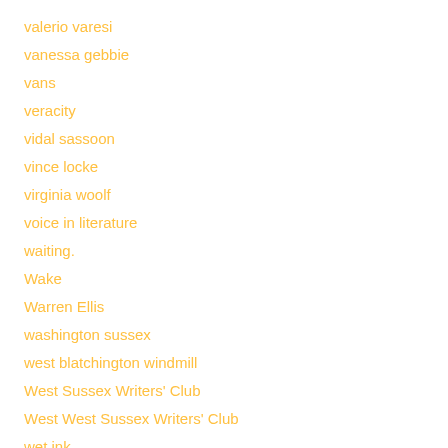valerio varesi
vanessa gebbie
vans
veracity
vidal sassoon
vince locke
virginia woolf
voice in literature
waiting.
Wake
Warren Ellis
washington sussex
west blatchington windmill
West Sussex Writers' Club
West West Sussex Writers' Club
wet ink